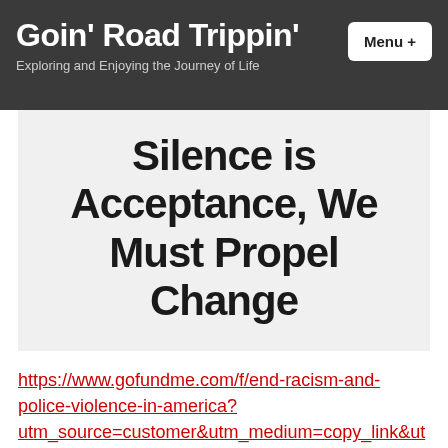Goin' Road Trippin' — Exploring and Enjoying the Journey of Life
Silence is Acceptance, We Must Propel Change
https://www.gofundme.com/f/end-racism-and-police-violence-in-america?utm_source=customer&utm_medium=copy_link&utm_campaign=m_pd+share-sheet